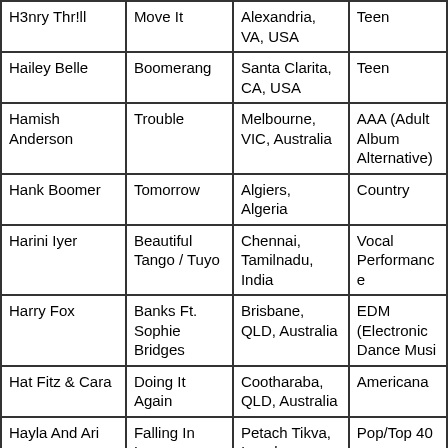| Artist | Song | Location | Genre |
| --- | --- | --- | --- |
| H3nry Thr!ll | Move It | Alexandria, VA, USA | Teen |
| Hailey Belle | Boomerang | Santa Clarita, CA, USA | Teen |
| Hamish Anderson | Trouble | Melbourne, VIC, Australia | AAA (Adult Album Alternative) |
| Hank Boomer | Tomorrow | Algiers, Algeria | Country |
| Harini Iyer | Beautiful Tango / Tuyo | Chennai, Tamilnadu, India | Vocal Performance |
| Harry Fox | Banks Ft. Sophie Bridges | Brisbane, QLD, Australia | EDM (Electronic Dance Music) |
| Hat Fitz & Cara | Doing It Again | Cootharaba, QLD, Australia | Americana |
| Hayla And Ari | Falling In Love | Petach Tikva, Israel | Pop/Top 40 |
| Heather Platts | Halfway Heart | Twin Falls, ID, USA | AC (Adult Contemporary) |
| Hicks | Stomp A Little Louder | Stockholm, Sweden | Country |
| ... | ... | Turners, CA... | Vocal... |